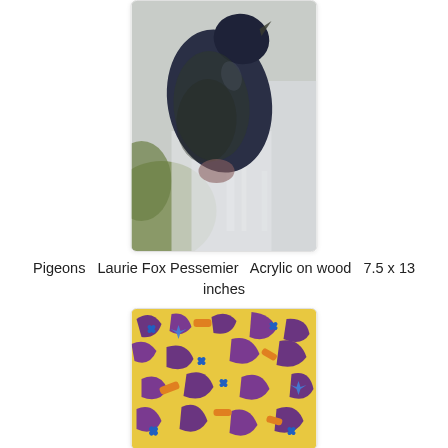[Figure (illustration): Painting of a pigeon/bird in dark blue-black tones perched, with grey-white background, acrylic on wood. Artist: Laurie Fox Pessemier.]
Pigeons   Laurie Fox Pessemier  Acrylic on wood   7.5 x 13 inches
[Figure (illustration): Abstract painting with yellow background and scattered purple, orange, and blue organic shapes suggesting figures or letters. Acrylic on wood.]